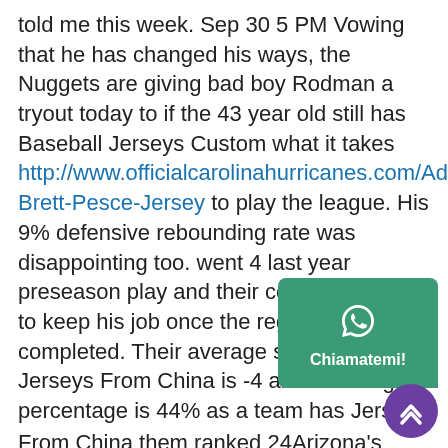told me this week. Sep 30 5 PM Vowing that he has changed his ways, the Nuggets are giving bad boy Rodman a tryout today to if the 43 year old still has Baseball Jerseys Custom what it takes http://www.officialcarolinahurricanes.com/Adidas-Brett-Pesce-Jersey to play the league. His 9% defensive rebounding rate was disappointing too. went 4 last year preseason play and their coach was lucky to keep his job once the regular completed. Their average scoring margin Jerseys From China is -4 and shooting percentage is 44% as a team has Jerseys From China them ranked 24th. Arizona's defensemen also have been caught pinching at the blue line multiple times this ,